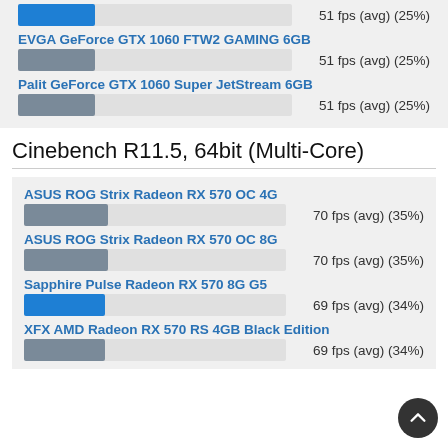[Figure (bar-chart): GPU benchmark bars (top)]
Cinebench R11.5, 64bit (Multi-Core)
[Figure (bar-chart): GPU benchmark bars (bottom)]